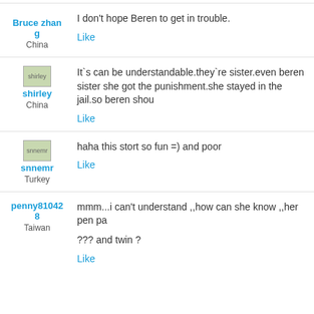Bruce zhang
China
I don't hope Beren to get in trouble.
Like
shirley
China
It`s can be understandable.they`re sister.even beren sister she got the punishment.she stayed in the jail.so beren shou
Like
snnemr
Turkey
haha this stort so fun =) and poor
Like
penny810428
Taiwan
mmm...i can't understand ,,how can she know ,,her pen pa
??? and twin ?
Like